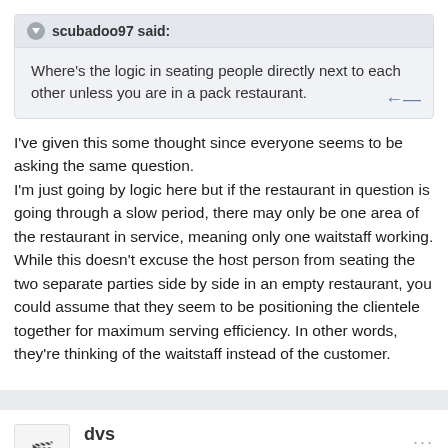scubadoo97 said:
Where's the logic in seating people directly next to each other unless you are in a pack restaurant.
I've given this some thought since everyone seems to be asking the same question.
I'm just going by logic here but if the restaurant in question is going through a slow period, there may only be one area of the restaurant in service, meaning only one waitstaff working. While this doesn't excuse the host person from seating the two separate parties side by side in an empty restaurant, you could assume that they seem to be positioning the clientele together for maximum serving efficiency. In other words, they're thinking of the waitstaff instead of the customer.
dvs
Posted May 31, 2006